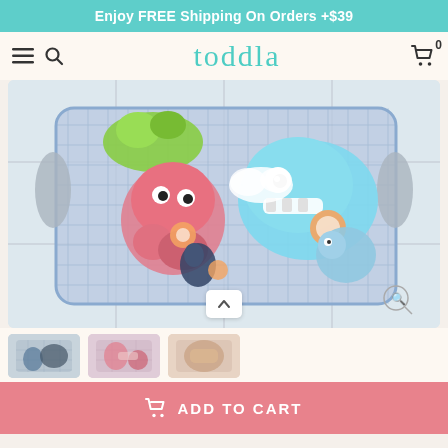Enjoy FREE Shipping On Orders +$39
[Figure (logo): Toddla brand logo in teal/mint color]
[Figure (photo): Bath toy organizer mesh bag filled with colorful sea creature bath toys including a pink octopus, blue whale, and small blue elephant, hanging on white tile wall]
[Figure (photo): Thumbnail 1: bath toy organizer with dark toys]
[Figure (photo): Thumbnail 2: bath toy organizer with pink toys]
[Figure (photo): Thumbnail 3: bath toy organizer close-up]
ADD TO CART